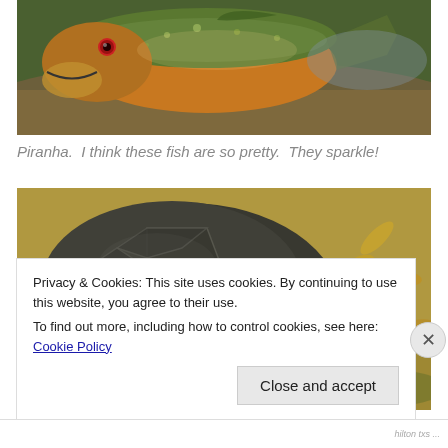[Figure (photo): Close-up photograph of a piranha fish underwater, showing its orange/yellow belly, greenish back with sparkle, red eye, and distinctive jaw]
Piranha.  I think these fish are so pretty.  They sparkle!
[Figure (photo): Top-down photograph of a turtle shell with geometric dark grey scutes, surrounded by dry leaves and ground]
Privacy & Cookies: This site uses cookies. By continuing to use this website, you agree to their use.
To find out more, including how to control cookies, see here: Cookie Policy
Close and accept